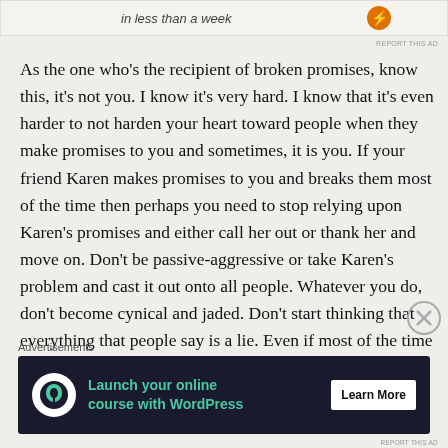[Figure (other): Top advertisement banner with italic text 'in less than a week' and a small icon on the right]
As the one who's the recipient of broken promises, know this, it's not you. I know it's very hard. I know that it's even harder to not harden your heart toward people when they make promises to you and sometimes, it is you. If your friend Karen makes promises to you and breaks them most of the time then perhaps you need to stop relying upon Karen's promises and either call her out or thank her and move on. Don't be passive-aggressive or take Karen's problem and cast it out onto all people. Whatever you do, don't become cynical and jaded. Don't start thinking that everything that people say is a lie. Even if most of the time it might appear to be so.
Advertisements
[Figure (other): Dark advertisement banner: 'Launch your online course with WordPress' with Learn More button]